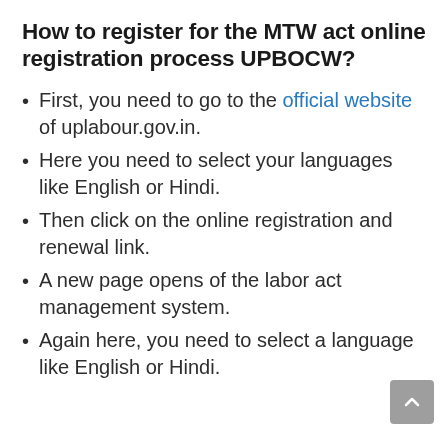How to register for the MTW act online registration process UPBOCW?
First, you need to go to the official website of uplabour.gov.in.
Here you need to select your languages like English or Hindi.
Then click on the online registration and renewal link.
A new page opens of the labor act management system.
Again here, you need to select a language like English or Hindi.